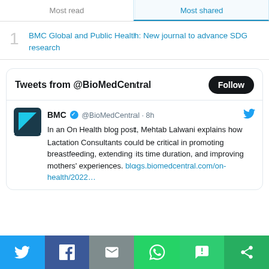Most read | Most shared
1. BMC Global and Public Health: New journal to advance SDG research
[Figure (screenshot): Twitter widget showing 'Tweets from @BioMedCentral' with a Follow button, and a tweet from BMC @BioMedCentral posted 8h ago about Mehtab Lalwani explaining how Lactation Consultants could be critical in promoting breastfeeding, extending its time duration, and improving mothers' experiences. Link: blogs.biomedcentral.com/on-health/2022...]
Social share bar: Twitter, Facebook, Email, WhatsApp, SMS, Other